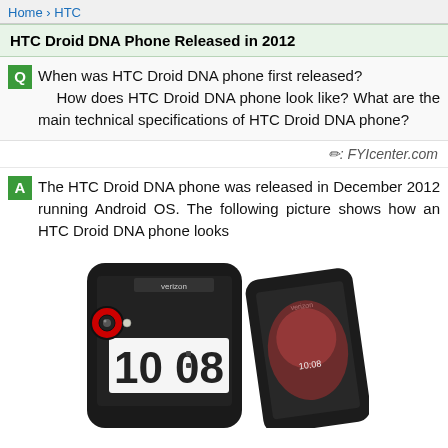Home > HTC
HTC Droid DNA Phone Released in 2012
When was HTC Droid DNA phone first released? How does HTC Droid DNA phone look like? What are the main technical specifications of HTC Droid DNA phone?
✏: FYIcenter.com
The HTC Droid DNA phone was released in December 2012 running Android OS. The following picture shows how an HTC Droid DNA phone looks
[Figure (photo): Photo of HTC Droid DNA smartphone showing front and side angle view with Verizon branding, time showing 10:08, and red accent camera ring on back]